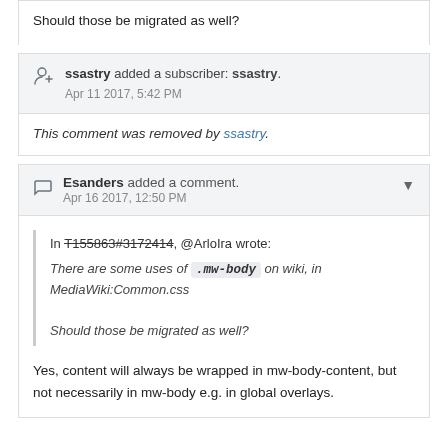Should those be migrated as well?
ssastry added a subscriber: ssastry. Apr 11 2017, 5:42 PM
This comment was removed by ssastry.
Esanders added a comment. Apr 16 2017, 12:50 PM
In T155863#3172414, @ArloIra wrote: There are some uses of .mw-body on wiki, in MediaWiki:Common.css

Should those be migrated as well?
Yes, content will always be wrapped in mw-body-content, but not necessarily in mw-body e.g. in global overlays.